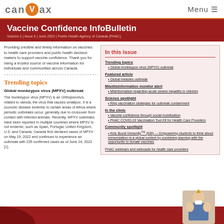CANVAX | Menu
Vaccine Confidence InfoBulletin
Volume 2 | Issue 6 | June 2022 | Public Health Agency of Canada (PHAC)
Providing credible and timely information on vaccines to health care providers and public health decision makers to support vaccine confidence. Thank you for being a trusted source of vaccine information for individuals and communities across Canada.
Trending topics
Global monkeypox virus (MPXV) outbreak
The monkeypox virus (MPXV) is an Orthopoxvirus, related to variola, the virus that causes smallpox. It is a zoonotic disease endemic to certain areas of Africa where periodic outbreaks occur, generally due to crossover from contact with infected animals. Recently, MPXV outbreaks have been reported in multiple countries where MPXV is not endemic, such as Spain, Portugal, United Kingdom, U.S. and Canada. Canada first declared cases of MPXV on May 19, 2022 and continues to experience an outbreak with 235 confirmed cases as of June 24, 2022 [1].
In this issue
Trending topics
Global monkeypox virus (MPXV) outbreak
Featured article
Global measles outbreak
Mis/disinformation monitor alert
Misinformation regarding acute severe hepatitis in children
Science spotlight
Ring vaccination strategies for outbreak containment
In the clinic
Vaccine confidence through social mobilization
PHAC COVID-19 Vaccination Tool Kit for Health Care Providers
Community spotlight
Kids Boost Immunity™ (KBI) — Empowering students to think about immunization in a global context by combining learning with the opportunity to donate vaccines
PHAC webinars and webcasts for health care providers